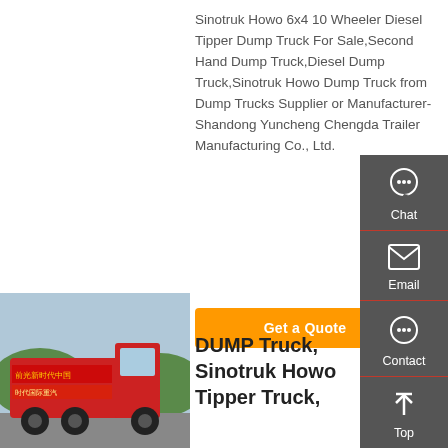Sinotruk Howo 6x4 10 Wheeler Diesel Tipper Dump Truck For Sale,Second Hand Dump Truck,Diesel Dump Truck,Sinotruk Howo Dump Truck from Dump Trucks Supplier or Manufacturer-Shandong Yuncheng Chengda Trailer Manufacturing Co., Ltd.
Get a Quote
[Figure (photo): Red Sinotruk Howo truck parked outdoors with Chinese text banner in background]
DUMP Truck, Sinotruk Howo Tipper Truck,